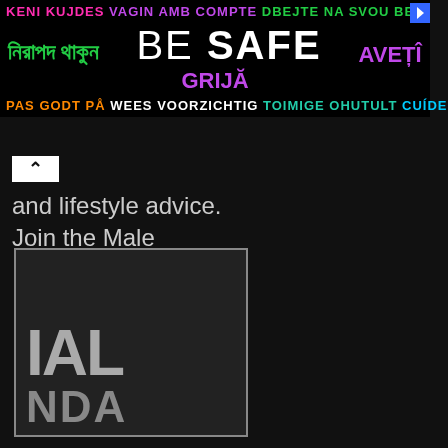[Figure (infographic): Multilingual 'BE SAFE' banner advertisement with text in multiple languages and colors on black background. Row 1: 'KENI KUJDES' (pink), 'VAGIN AMB COMPTE' (purple), 'DBEJTE NA SVOU BEZPECNOS' (green). Row 2: Bengali text (green), 'BE SAFE' (white, large), 'AVETI GRIJA' (purple). Row 3: 'PAS GODT PA' (orange), 'WEES VOORZICHTIG' (white), 'TOIMIGE OHUTULT' (teal), 'CUIDESE' (cyan).]
and lifestyle advice. Join the Male Standard revolution!
[Figure (logo): Partial Male Standard logo: white outlined rectangle border on dark background, with partial letters 'IAL' and 'NDA' visible in grey, representing the Male Standard brand logo.]